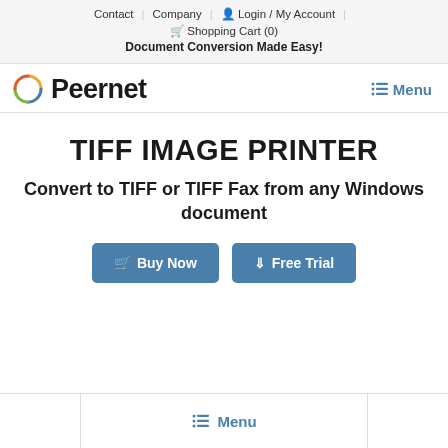Contact | Company | Login / My Account | Shopping Cart (0) | Document Conversion Made Easy!
[Figure (logo): Peernet logo with circular multicolor ring icon and bold Peernet text]
Menu
TIFF IMAGE PRINTER
Convert to TIFF or TIFF Fax from any Windows document
Buy Now   Free Trial
Menu